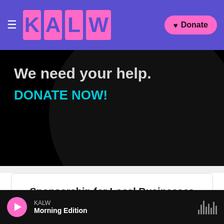KALW — Navigation bar with hamburger menu, KALW logo, and Donate button
[Figure (screenshot): Hero banner with dark background and text 'We need your help.' and 'DONATE NOW!' in cyan]
Sponsorship for Local Businesses
Special rates and packages
Learn More
KALW | Morning Edition — audio player bar